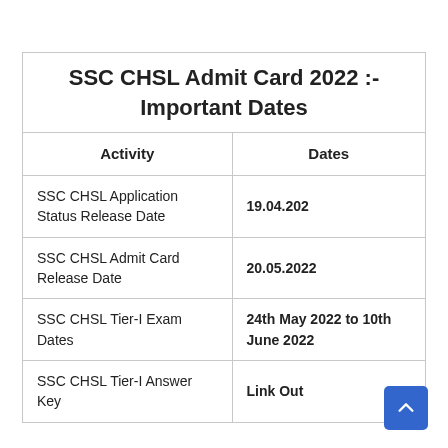| Activity | Dates |
| --- | --- |
| SSC CHSL Application Status Release Date | 19.04.202 |
| SSC CHSL Admit Card Release Date | 20.05.2022 |
| SSC CHSL Tier-I Exam Dates | 24th May 2022 to 10th June 2022 |
| SSC CHSL Tier-I Answer Key | Link Out |